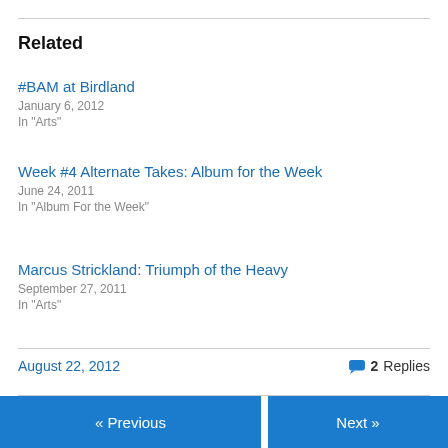Related
#BAM at Birdland
January 6, 2012
In "Arts"
Week #4 Alternate Takes: Album for the Week
June 24, 2011
In "Album For the Week"
Marcus Strickland: Triumph of the Heavy
September 27, 2011
In "Arts"
August 22, 2012
2 Replies
« Previous
Next »